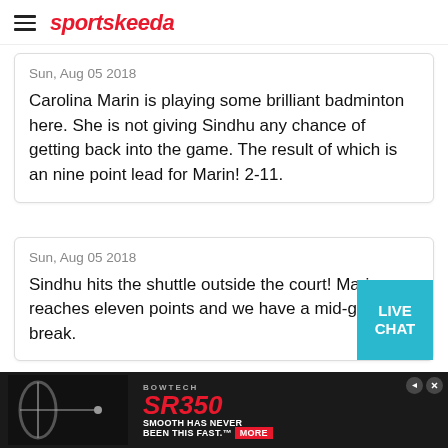sportskeeda
Sun, Aug 05 2018
Carolina Marin is playing some brilliant badminton here. She is not giving Sindhu any chance of getting back into the game. The result of which is an nine point lead for Marin! 2-11.
Sun, Aug 05 2018
Sindhu hits the shuttle outside the court! Marin reaches eleven points and we have a mid-game break.
[Figure (other): Bowtech SR350 advertisement banner with the tagline SMOOTH HAS NEVER BEEN THIS FAST. MORE button on right.]